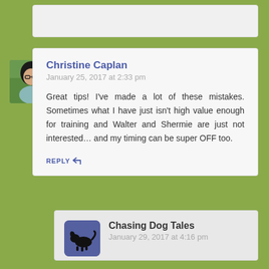[Figure (other): Truncated top comment box (partially visible)]
[Figure (photo): Avatar photo of Christine Caplan - woman with glasses and dark hair]
Christine Caplan
January 25, 2017 at 2:33 pm
Great tips! I've made a lot of these mistakes. Sometimes what I have just isn't high value enough for training and Walter and Shermie are just not interested… and my timing can be super OFF too.
REPLY
[Figure (logo): Chasing Dog Tales logo - black dog silhouette on blue/purple square background]
Chasing Dog Tales
January 29, 2017 at 4:16 pm